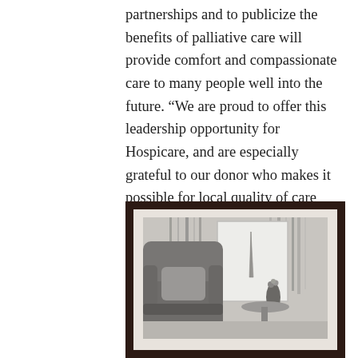partnerships and to publicize the benefits of palliative care will provide comfort and compassionate care to many people well into the future. “We are proud to offer this leadership opportunity for Hospicare, and are especially grateful to our donor who makes it possible for local quality of care programs to thrive,” said George Ferrari, Community Foundation CEO. “These planned gifts become a meaningful force in local philanthropy.”
[Figure (photo): Black and white framed photograph showing an armchair with a pillow, draped curtains in the background, and a small round table with a vase of flowers and a glass object on it.]